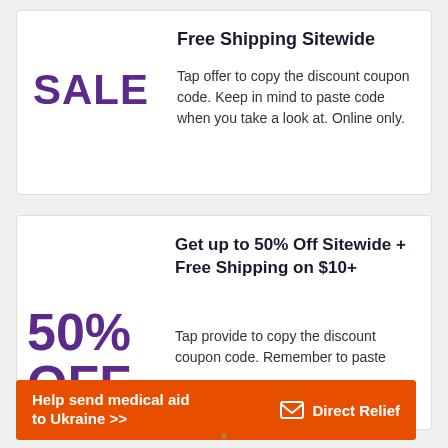Free Shipping Sitewide
SALE
Tap offer to copy the discount coupon code. Keep in mind to paste code when you take a look at. Online only.
Get up to 50% Off Sitewide + Free Shipping on $10+
50% OFF
Tap provide to copy the discount coupon code. Remember to paste
[Figure (infographic): Orange banner ad: Help send medical aid to Ukraine >> with Direct Relief logo on right]
×